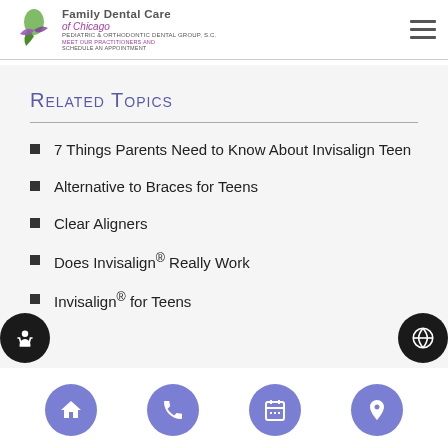Family Dental Care of Chicago
Related Topics
7 Things Parents Need to Know About Invisalign Teen
Alternative to Braces for Teens
Clear Aligners
Does Invisalign® Really Work
Invisalign® for Teens